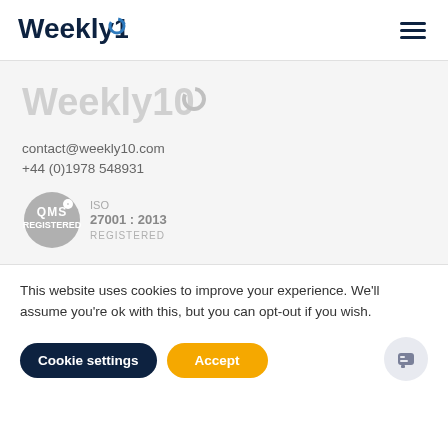[Figure (logo): Weekly10 logo in dark navy with circular arrow accent in the header navigation bar]
[Figure (logo): Weekly10 watermark logo in light grey, large, in the main content area]
contact@weekly10.com
+44 (0)1978 548931
[Figure (logo): QMS ISO 27001:2013 Registered badge - grey circular badge with QMS text and ISO certification details]
This website uses cookies to improve your experience. We'll assume you're ok with this, but you can opt-out if you wish.
Cookie settings
Accept